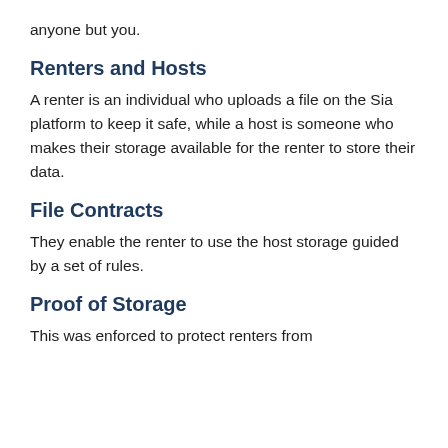anyone but you.
Renters and Hosts
A renter is an individual who uploads a file on the Sia platform to keep it safe, while a host is someone who makes their storage available for the renter to store their data.
File Contracts
They enable the renter to use the host storage guided by a set of rules.
Proof of Storage
This was enforced to protect renters from